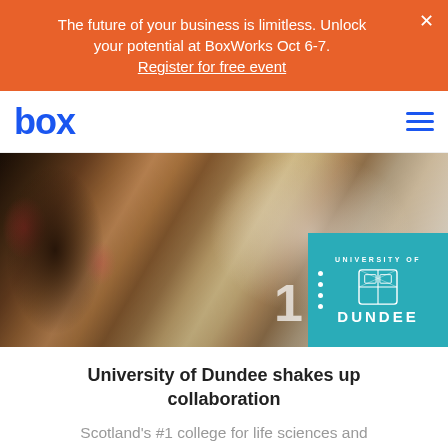The future of your business is limitless. Unlock your potential at BoxWorks Oct 6-7. Register for free event
[Figure (logo): Box logo and hamburger navigation menu]
[Figure (photo): Dental clinic scene with a practitioner examining a patient; University of Dundee teal badge overlay in bottom right]
University of Dundee shakes up collaboration
Scotland's #1 college for life sciences and